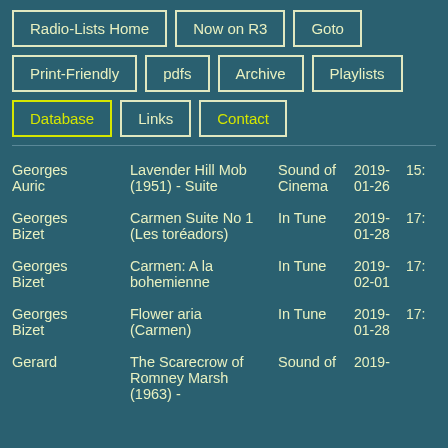Radio-Lists Home
Now on R3
Goto
Print-Friendly
pdfs
Archive
Playlists
Database
Links
Contact
| Composer | Title | Programme | Date | Time |
| --- | --- | --- | --- | --- |
| Georges Auric | Lavender Hill Mob (1951) - Suite | Sound of Cinema | 2019-01-26 | 15: |
| Georges Bizet | Carmen Suite No 1 (Les toréadors) | In Tune | 2019-01-28 | 17: |
| Georges Bizet | Carmen: A la bohemienne | In Tune | 2019-02-01 | 17: |
| Georges Bizet | Flower aria (Carmen) | In Tune | 2019-01-28 | 17: |
| Gerard | The Scarecrow of Romney Marsh (1963) - | Sound of | 2019- |  |